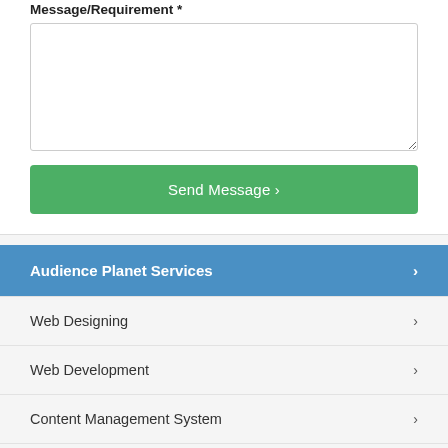Message/Requirement *
Send Message ›
Audience Planet Services ›
Web Designing ›
Web Development ›
Content Management System ›
E-Commerce Development ›
Mobile Application Development ›